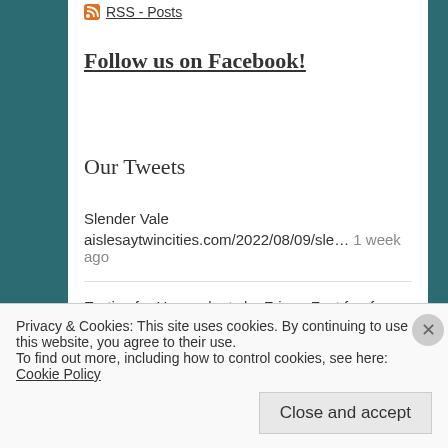RSS - Posts
Follow us on Facebook!
Our Tweets
Slender Vale
aislesaytwincities.com/2022/08/09/sle… 1 week ago
Erotica for Houseplants by Fringe Fest fan-fav Tom
Privacy & Cookies: This site uses cookies. By continuing to use this website, you agree to their use.
To find out more, including how to control cookies, see here: Cookie Policy
Close and accept